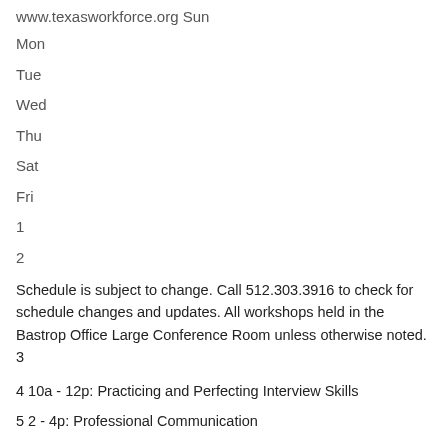www.texasworkforce.org Sun
Mon
Tue
Wed
Thu
Sat
Fri
1
2
Schedule is subject to change. Call 512.303.3916 to check for schedule changes and updates. All workshops held in the Bastrop Office Large Conference Room unless otherwise noted. 3
4 10a - 12p: Practicing and Perfecting Interview Skills
5 2 - 4p: Professional Communication